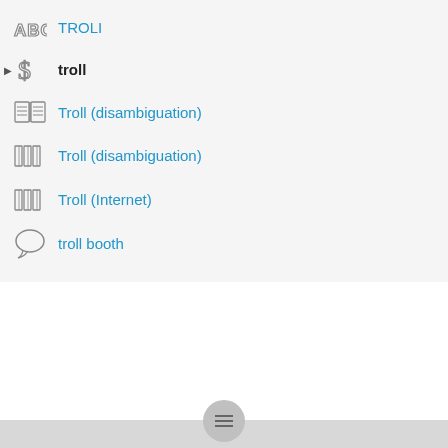TROLI
troll
Troll (disambiguation)
Troll (disambiguation)
Troll (Internet)
troll booth